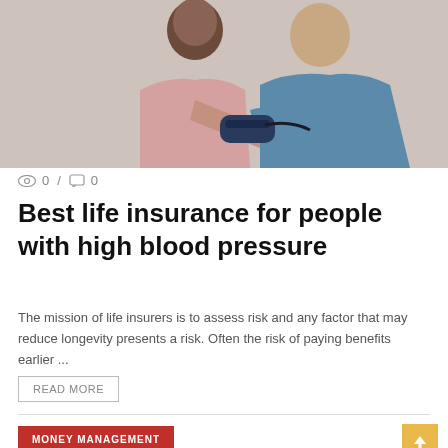[Figure (photo): A woman having her blood pressure measured by a healthcare professional in blue scrubs. The patient is wearing a pink shirt and sitting while the nurse applies a blood pressure cuff.]
0 / 0
Best life insurance for people with high blood pressure
The mission of life insurers is to assess risk and any factor that may reduce longevity presents a risk. Often the risk of paying benefits earlier ...
READ MORE
MONEY MANAGEMENT